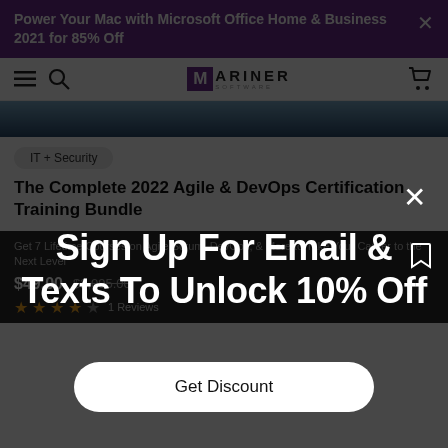Power Your Mac with Microsoft Office Home & Business 2021 for 85% Off
[Figure (logo): Mariner Software logo with hamburger menu, search icon, and cart icon in navigation bar]
[Figure (photo): Blue-tinted hero image strip showing a laptop or office scene]
IT + Security
The Complete 2022 Agile & DevOps Certification Training Bundle
Get 7 Lifetime Courses on Agile Scrum, DevOps, & More to Take Your Career to the Next Level
$49.00  $2,095.00
★★★★☆ 1 Reviews
Sign Up For Email & Texts To Unlock 10% Off
Get Discount